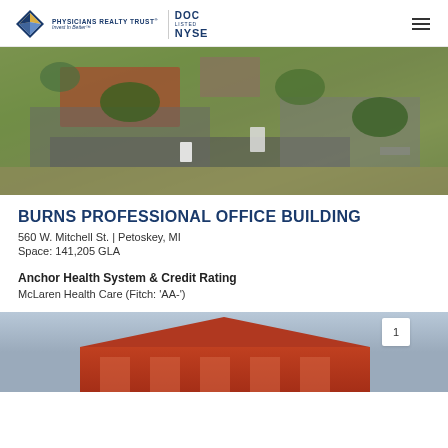Physicians Realty Trust — DOC LISTED NYSE
[Figure (photo): Aerial view of Burns Professional Office Building parking lot and surrounding area with trees, Petoskey MI]
BURNS PROFESSIONAL OFFICE BUILDING
560 W. Mitchell St. | Petoskey, MI
Space: 141,205 GLA
Anchor Health System & Credit Rating
McLaren Health Care (Fitch: 'AA-')
[Figure (photo): Ground-level photo of building exterior showing brick facade and roof against sky]